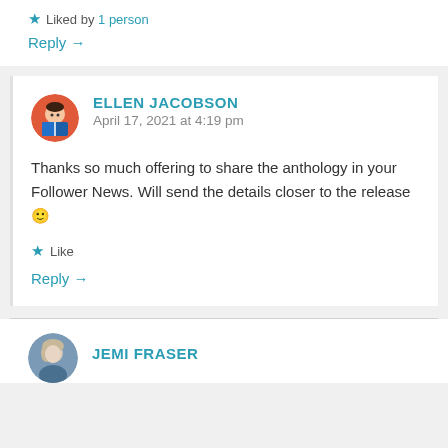★ Liked by 1 person
Reply →
ELLEN JACOBSON
April 17, 2021 at 4:19 pm
Thanks so much offering to share the anthology in your Follower News. Will send the details closer to the release 🙂
★ Like
Reply →
JEMI FRASER